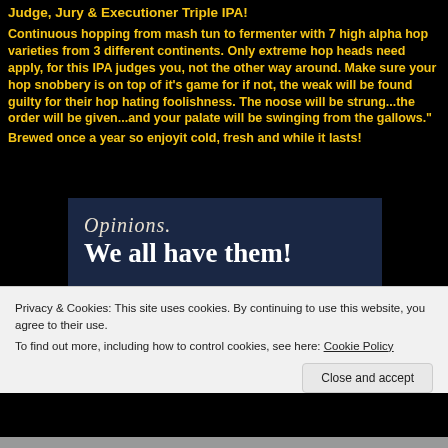Judge, Jury & Executioner Triple IPA!
Continuous hopping from mash tun to fermenter with 7 high alpha hop varieties from 3 different continents. Only extreme hop heads need apply, for this IPA judges you, not the other way around. Make sure your hop snobbery is on top of it's game for if not, the weak will be found guilty for their hop hating foolishness. The noose will be strung...the order will be given...and your palate will be swinging from the gallows."
Brewed once a year so enjoyit cold, fresh and while it lasts!
[Figure (screenshot): Dark navy blue promotional banner with italic text 'Opinions.' and bold text 'We all have them!' in white serif font, with a pink button and a light colored circle element at the bottom.]
Privacy & Cookies: This site uses cookies. By continuing to use this website, you agree to their use.
To find out more, including how to control cookies, see here: Cookie Policy
Close and accept